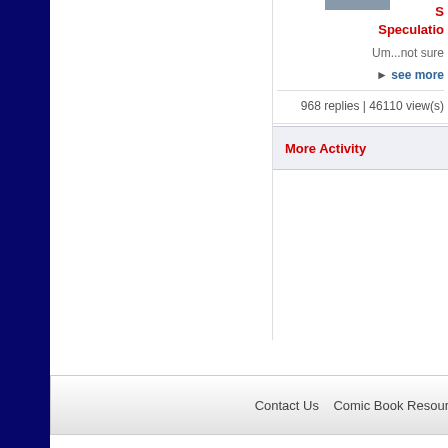[Figure (screenshot): Partial thumbnail image at top right corner]
Speculation
Um...not sure
► see more
968 replies | 46110 view(s)
More Activity
Contact Us   Comic Book Resources
All times are GMT -7. The time now is 02:42 AM.
© 1995 - 2022 Valnet, Inc All Rights Reserved.
Copyright © 20